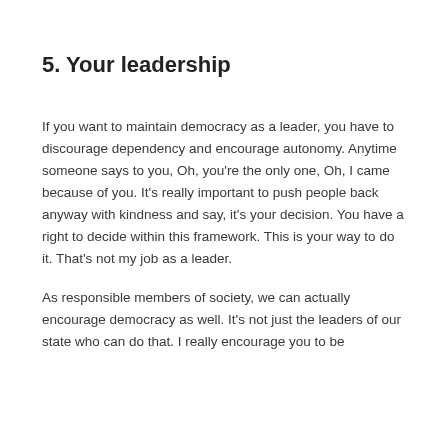5. Your leadership
If you want to maintain democracy as a leader, you have to discourage dependency and encourage autonomy. Anytime someone says to you, Oh, you're the only one, Oh, I came because of you. It's really important to push people back anyway with kindness and say, it's your decision. You have a right to decide within this framework. This is your way to do it. That's not my job as a leader.
As responsible members of society, we can actually encourage democracy as well. It's not just the leaders of our state who can do that. I really encourage you to be